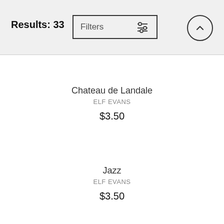Results: 33  Filters
Chateau de Landale
Elf EVANS
$3.50
Jazz
Elf EVANS
$3.50
Behind The Walls 2